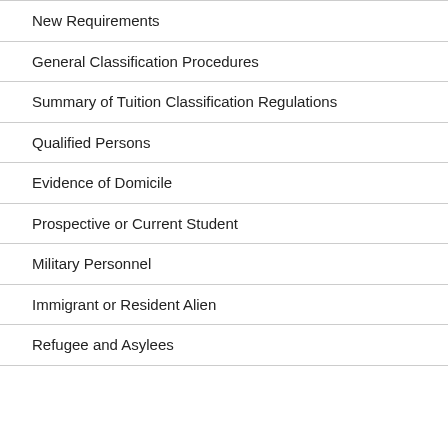New Requirements
General Classification Procedures
Summary of Tuition Classification Regulations
Qualified Persons
Evidence of Domicile
Prospective or Current Student
Military Personnel
Immigrant or Resident Alien
Refugee and Asylees